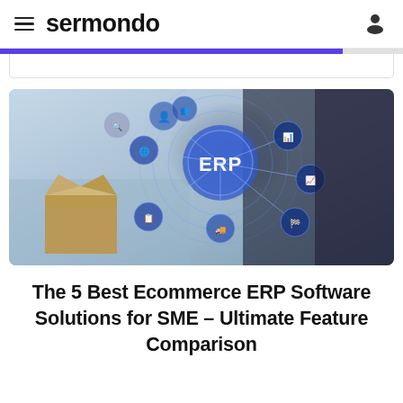sermondo
[Figure (screenshot): Progress bar / loading indicator strip, partially filled in purple/indigo, with a white card area below it]
[Figure (photo): A businessperson touching a glowing ERP holographic interface with connected circular icons representing various business functions (HR, logistics, analytics, etc.), with a cardboard box in the foreground and a city skyline in the background]
The 5 Best Ecommerce ERP Software Solutions for SME – Ultimate Feature Comparison